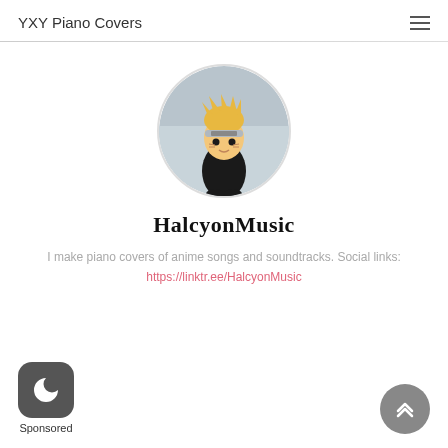YXY Piano Covers
[Figure (photo): Circular profile avatar showing a Naruto Funko Pop figurine with yellow spiky hair, black outfit, sitting in front of a blurred background]
HalcyonMusic
I make piano covers of anime songs and soundtracks. Social links: https://linktr.ee/HalcyonMusic
[Figure (logo): Dark rounded square icon with a crescent moon symbol, labeled 'Sponsored' below]
[Figure (other): Grey circular scroll-to-top button with double upward chevron arrows]